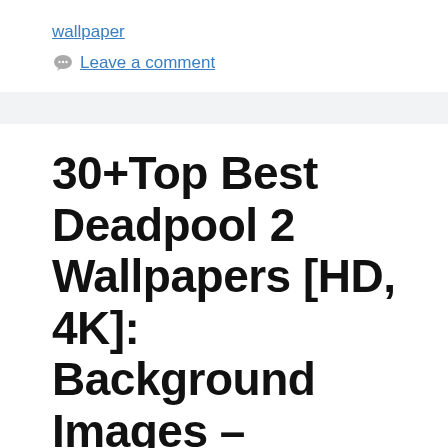wallpaper
Leave a comment
30+Top Best Deadpool 2 Wallpapers [HD, 4K]: Background Images – Wallpapers
June 12, 2018 by admin
[Figure (photo): Partial view of a Deadpool character image at the bottom of the page, showing red costume element]